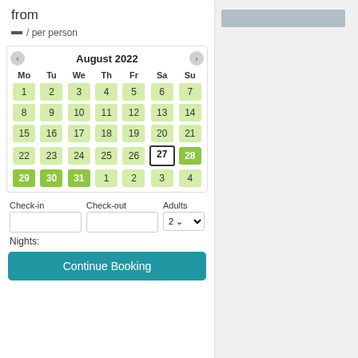from
— / per person
[Figure (screenshot): Calendar widget showing August 2022 with days 1-31 and overflow days 1-4. Days 28, 29, 30, 31 highlighted in bright green. Day 27 has an outlined border. Days 1-26 are light green.]
Check-in
Check-out
Adults
Nights:
Continue Booking